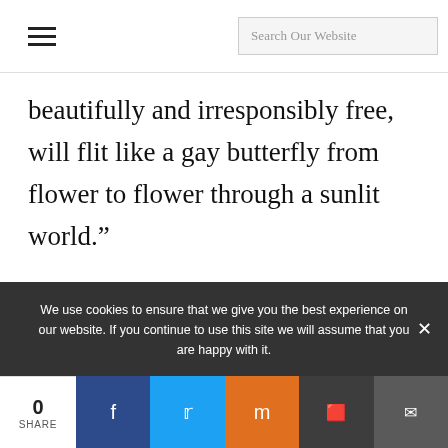Search Our Website
beautifully and irresponsibly free, will flit like a gay butterfly from flower to flower through a sunlit world.”
We use cookies to ensure that we give you the best experience on our website. If you continue to use this site we will assume that you are happy with it.
0 SHARE